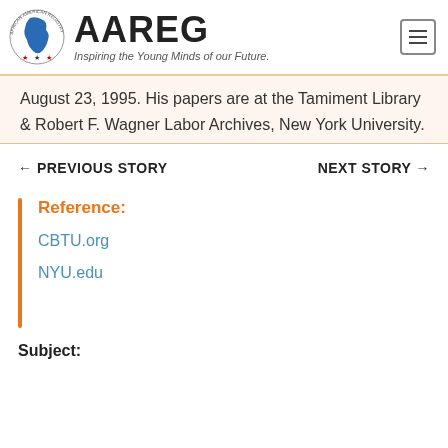[Figure (logo): AAREG African American Registry logo with Africa continent graphic and stars, tagline: Inspiring the Young Minds of our Future.]
August 23, 1995. His papers are at the Tamiment Library & Robert F. Wagner Labor Archives, New York University.
← PREVIOUS STORY    NEXT STORY →
Reference:
CBTU.org
NYU.edu
Subject: